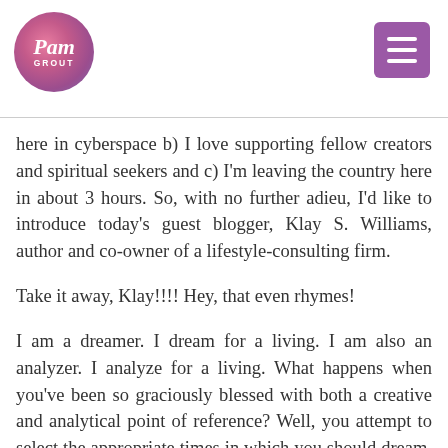Pam Grout
here in cyberspace b) I love supporting fellow creators and spiritual seekers and c) I'm leaving the country here in about 3 hours. So, with no further adieu, I'd like to introduce today's guest blogger, Klay S. Williams, author and co-owner of a lifestyle-consulting firm.
Take it away, Klay!!!! Hey, that even rhymes!
I am a dreamer. I dream for a living. I am also an analyzer. I analyze for a living. What happens when you've been so graciously blessed with both a creative and analytical point of reference? Well, you attempt to select the appropriate times in which you should dream, while allowing yourself the ability to be dangerously free.